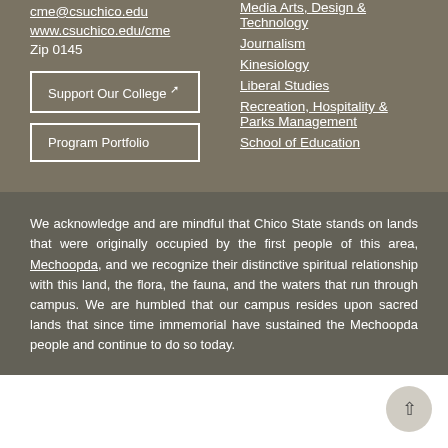cme@csuchico.edu
www.csuchico.edu/cme
Zip 0145
Support Our College [external link]
Program Portfolio
Media Arts, Design & Technology
Journalism
Kinesiology
Liberal Studies
Recreation, Hospitality & Parks Management
School of Education
We acknowledge and are mindful that Chico State stands on lands that were originally occupied by the first people of this area, Mechoopda, and we recognize their distinctive spiritual relationship with this land, the flora, the fauna, and the waters that run through campus. We are humbled that our campus resides upon sacred lands that since time immemorial have sustained the Mechoopda people and continue to do so today.